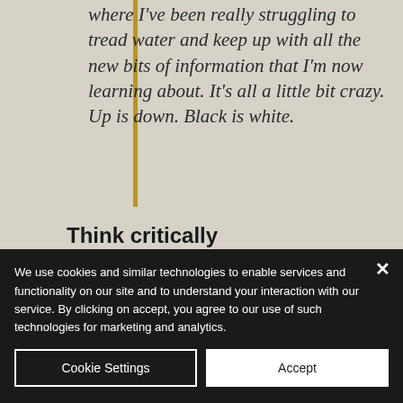where I've been really struggling to tread water and keep up with all the new bits of information that I'm now learning about. It's all a little bit crazy. Up is down. Black is white.
Think critically
In reviewing all of the studies and research into this area one thing I kept coming back to was
We use cookies and similar technologies to enable services and functionality on our site and to understand your interaction with our service. By clicking on accept, you agree to our use of such technologies for marketing and analytics.
Cookie Settings
Accept